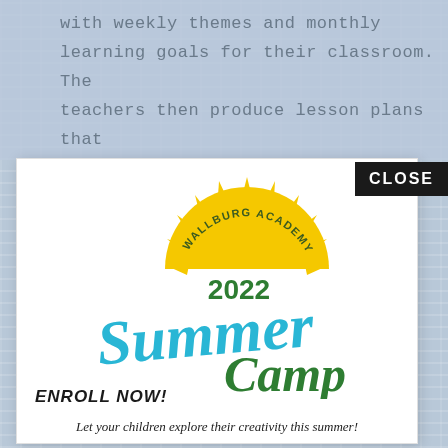with weekly themes and monthly learning goals for their classroom. The teachers then produce lesson plans that
[Figure (logo): Wallburg Academy 2022 Summer Camp logo: a yellow sun with rays above a teal cursive 'Summer' and green 'Camp' text, with '2022' in green above, and 'WALLBURG ACADEMY' in an arch on the sun]
ENROLL NOW!
Let your children explore their creativity this summer!